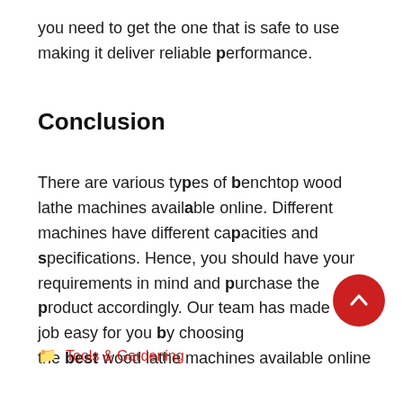you need to get the one that is safe to use making it deliver reliable performance.
Conclusion
There are various types of benchtop wood lathe machines available online. Different machines have different capacities and specifications. Hence, you should have your requirements in mind and purchase the product accordingly. Our team has made the job easy for you by choosing the best wood lathe machines available onlin
Tools & Gardening